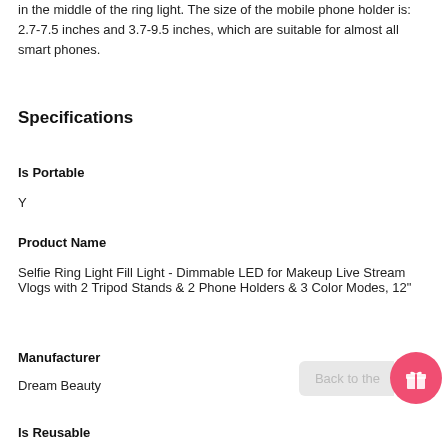in the middle of the ring light. The size of the mobile phone holder is: 2.7-7.5 inches and 3.7-9.5 inches, which are suitable for almost all smart phones.
Specifications
Is Portable
Y
Product Name
Selfie Ring Light Fill Light - Dimmable LED for Makeup Live Stream Vlogs with 2 Tripod Stands & 2 Phone Holders & 3 Color Modes, 12"
Manufacturer
Dream Beauty
Is Reusable